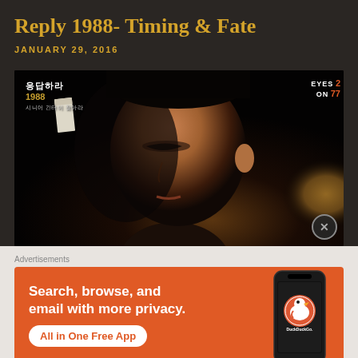Reply 1988- Timing & Fate
JANUARY 29, 2016
[Figure (screenshot): Screenshot from Korean TV drama 'Reply 1988' showing a young man's face in a dark scene. Korean title text and 'EYES ON 77' logo visible in corners.]
Advertisements
[Figure (other): DuckDuckGo advertisement banner with orange background. Text reads 'Search, browse, and email with more privacy. All in One Free App' with phone graphic showing DuckDuckGo logo.]